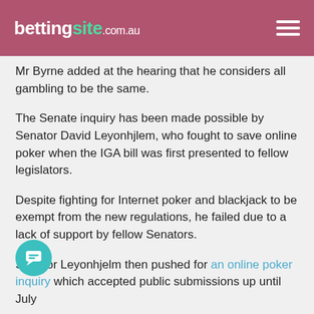bettingsite.com.au
Mr Byrne added at the hearing that he considers all gambling to be the same.
The Senate inquiry has been made possible by Senator David Leyonhjlem, who fought to save online poker when the IGA bill was first presented to fellow legislators.
Despite fighting for Internet poker and blackjack to be exempt from the new regulations, he failed due to a lack of support by fellow Senators.
Senator Leyonhjelm then pushed for an online poker inquiry which accepted public submissions up until July
Del Duca spoke to Inside Asian Gaming following the